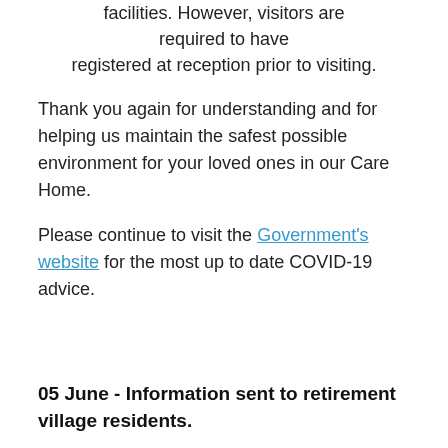facilities. However, visitors are required to have registered at reception prior to visiting.
Thank you again for understanding and for helping us maintain the safest possible environment for your loved ones in our Care Home.
Please continue to visit the Government's website for the most up to date COVID-19 advice.
05 June - Information sent to retirement village residents.
We are now three weeks into COVID-19 Alert Level 2 around the country, and as each day passes it is pleasing to see very few or no COVID-19 cases being reported.